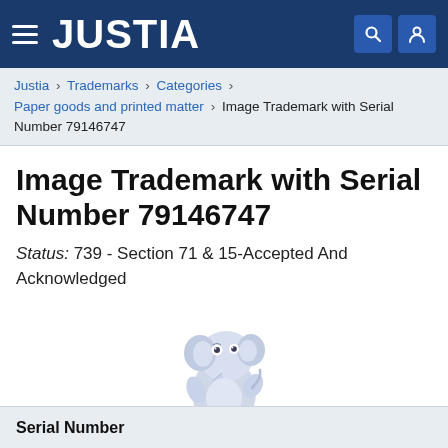JUSTIA
Justia › Trademarks › Categories › Paper goods and printed matter › Image Trademark with Serial Number 79146747
Image Trademark with Serial Number 79146747
Status: 739 - Section 71 & 15-Accepted And Acknowledged
[Figure (illustration): Cartoon baby elephant in light blue/gray color, standing upright on two legs with trunk raised, large ears, wide eyes, friendly expression]
Serial Number